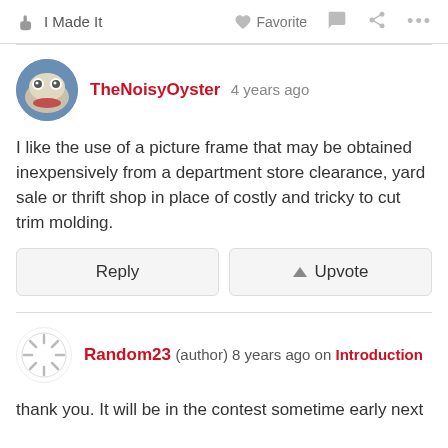I Made It   Favorite   ...
TheNoisyOyster 4 years ago
I like the use of a picture frame that may be obtained inexpensively from a department store clearance, yard sale or thrift shop in place of costly and tricky to cut trim molding.
Reply   Upvote
Random23 (author) 8 years ago on Introduction
thank you. It will be in the contest sometime early next